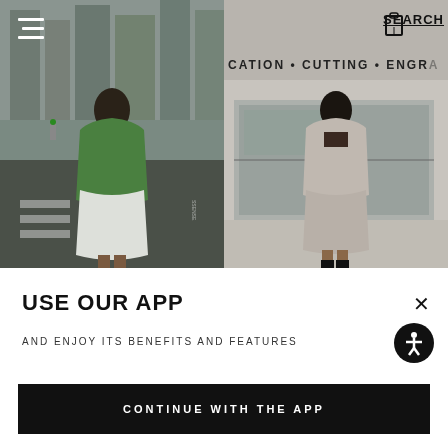[Figure (photo): Fashion photo: woman in green cowl-neck sleeveless top and white mini skirt on a New York City street with tall buildings in background. Hamburger menu icon overlaid top-left corner.]
[Figure (photo): Fashion photo: woman in beige/grey blazer and mini skirt set standing in front of a building with text 'CATION • CUTTING • ENGR...' visible. SEARCH text and bag/bookmark icons overlay the top-right corner.]
USE OUR APP
AND ENJOY ITS BENEFITS AND FEATURES
CONTINUE WITH THE APP